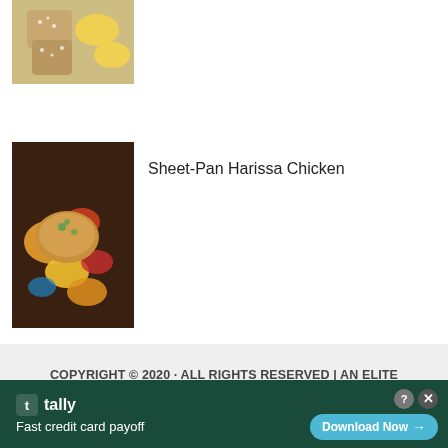[Figure (photo): Partial view of a food dish with lemon wedges and sesame-crusted items, cropped at top]
[Figure (photo): Sheet-Pan Harissa Chicken dish with colorful peppers and vegetables on a dark background]
Sheet-Pan Harissa Chicken
COPYRIGHT © 2020 · ALL RIGHTS RESERVED | AN ELITE CAFEMEDIA FOOD PUBLISHER | SITE DESIGN BY SAEVIL ROW
AN ELITE CAFEMEDIA FOOD PUBLISHER
[Figure (screenshot): Advertisement bar: Tally app - Fast credit card payoff, Download Now button]